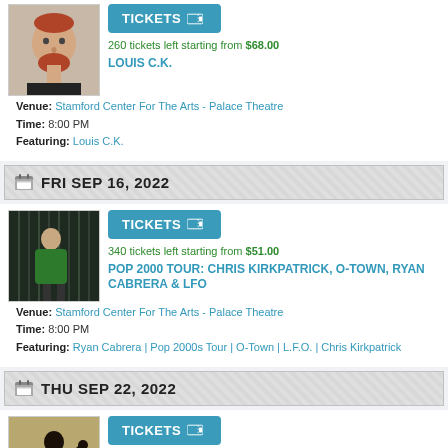[Figure (photo): Headshot of Louis C.K., a man with reddish hair and beard]
TICKETS
260 tickets left starting from $68.00
LOUIS C.K.
Venue: Stamford Center For The Arts - Palace Theatre
Time: 8:00 PM
Featuring: Louis C.K.
FRI SEP 16, 2022
[Figure (photo): Photo of performer in green jacket standing in dark setting]
TICKETS
340 tickets left starting from $51.00
POP 2000 TOUR: CHRIS KIRKPATRICK, O-TOWN, RYAN CABRERA & LFO
Venue: Stamford Center For The Arts - Palace Theatre
Time: 8:00 PM
Featuring: Ryan Cabrera | Pop 2000s Tour | O-Town | L.F.O. | Chris Kirkpatrick
THU SEP 22, 2022
[Figure (photo): Silhouette of singer performing with microphone]
TICKETS
325 tickets left starting from $51.00
SOULTOWN TO MOTOWN